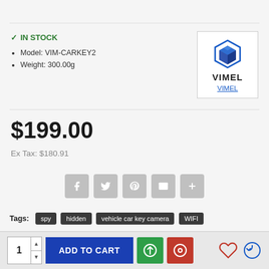IN STOCK
Model: VIM-CARKEY2
Weight: 300.00g
[Figure (logo): VIMEL brand logo with 3D hexagon icon and brand name VIMEL with link below]
$199.00
Ex Tax: $180.91
[Figure (other): Social sharing buttons: Facebook, Twitter, Pinterest, Email, Plus]
Tags: spy  hidden  vehicle car key camera  WIFI  wireless  monitor  remotely  LIVE Stream
1  ADD TO CART